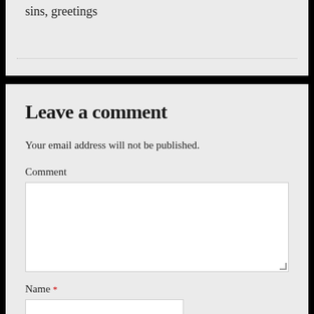sins, greetings
Leave a comment
Your email address will not be published.
Comment
[Figure (other): Comment text area input field (empty)]
Name *
[Figure (other): Name text input field (empty)]
Email *
[Figure (other): Email text input field (empty)]